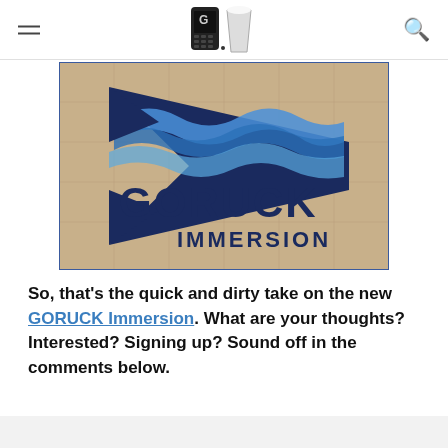[site logo: phone and cup icon] [hamburger menu] [search icon]
[Figure (logo): GORUCK Immersion logo on a tan/beige background with a dark blue shark/fish shape and wave design. Text reads GORUCK IMMERSION in large dark blue block letters.]
So, that's the quick and dirty take on the new GORUCK Immersion. What are your thoughts? Interested? Signing up? Sound off in the comments below.